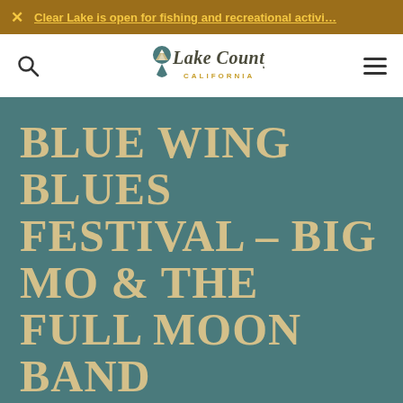Clear Lake is open for fishing and recreational activi…
[Figure (logo): Lake County California logo with mountain/location pin icon and stylized script text]
BLUE WING BLUES FESTIVAL – BIG MO & THE FULL MOON BAND
[Figure (photo): Partial event photo showing musicians performing, partially cut off at bottom of page]